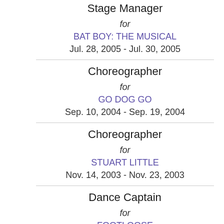Stage Manager
for
BAT BOY: THE MUSICAL
Jul. 28, 2005 - Jul. 30, 2005
Choreographer
for
GO DOG GO
Sep. 10, 2004 - Sep. 19, 2004
Choreographer
for
STUART LITTLE
Nov. 14, 2003 - Nov. 23, 2003
Dance Captain
for
FOOTLOOSE